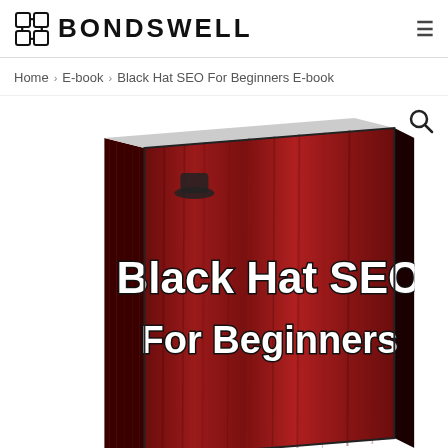BONDSWELL
Home > E-book > Black Hat SEO For Beginners E-book
[Figure (photo): 3D book cover illustration of 'Black Hat SEO For Beginners' e-book with dark red wood-grain texture and bold black/white text on the cover, shown at an angle with spine visible on the left side. A search/magnify icon appears in the top-right corner of the product image area.]